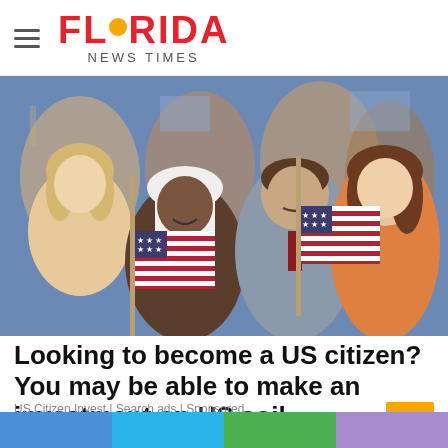FLORIDA NEWS TIMES
[Figure (photo): A crowd of diverse people smiling and waving American flags at a citizenship ceremony.]
Looking to become a US citizen? You may be able to make an investment on US soil
US Citizen Invest | Search ads | Sponsored